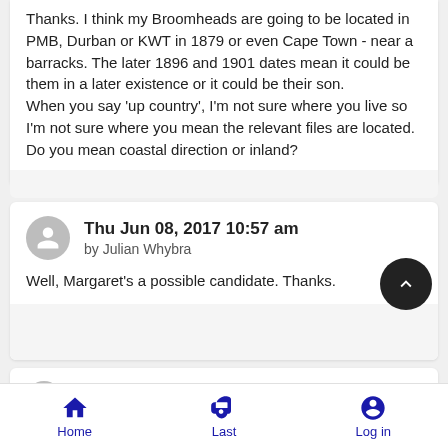Thanks. I think my Broomheads are going to be located in PMB, Durban or KWT in 1879 or even Cape Town - near a barracks. The later 1896 and 1901 dates mean it could be them in a later existence or it could be their son. When you say 'up country', I'm not sure where you live so I'm not sure where you mean the relevant files are located. Do you mean coastal direction or inland?
Thu Jun 08, 2017 10:57 am by Julian Whybra
Well, Margaret's a possible candidate. Thanks.
Thu Jun 08, 2017 11:11